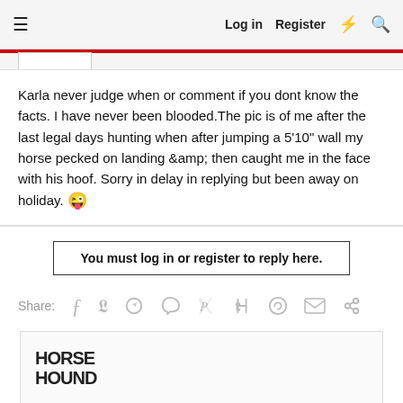≡   Log in   Register   ⚡   🔍
Karla never judge when or comment if you dont know the facts. I have never been blooded.The pic is of me after the last legal days hunting when after jumping a 5'10" wall my horse pecked on landing &amp; then caught me in the face with his hoof. Sorry in delay in replying but been away on holiday. 😜
You must log in or register to reply here.
Share:
[Figure (logo): Horse & Hound logo in bold black uppercase text]